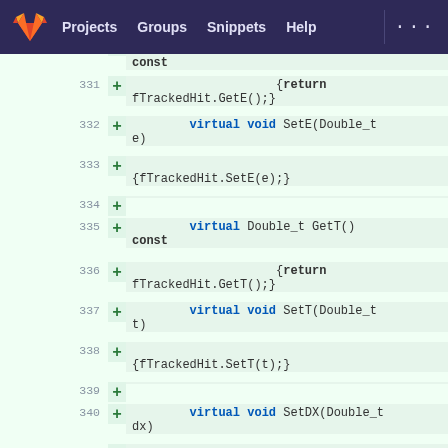Projects  Groups  Snippets  Help
[Figure (screenshot): GitLab diff view showing C++ code additions for lines 331-341, including virtual methods GetE, SetE, GetT, SetT, SetDX with Double_t parameters and fTrackedHit member calls.]